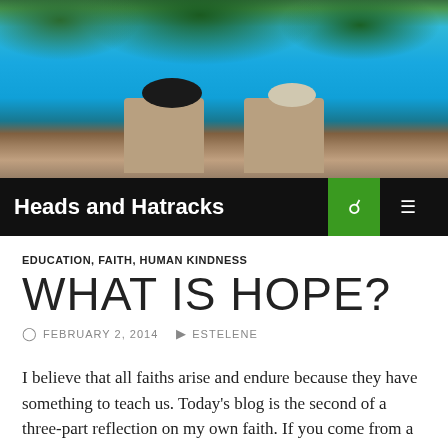[Figure (photo): Two people sitting in lounge chairs by a turquoise ocean, one wearing a black wide-brim hat, the other a light-colored cap. Rocky coastline in the background.]
Heads and Hatracks
EDUCATION, FAITH, HUMAN KINDNESS
WHAT IS HOPE?
FEBRUARY 2, 2014   ESTELENE
I believe that all faiths arise and endure because they have something to teach us.  Today's blog is the second of a three-part reflection on my own faith.  If you come from a different